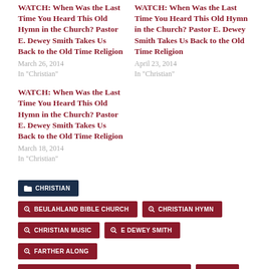WATCH: When Was the Last Time You Heard This Old Hymn in the Church? Pastor E. Dewey Smith Takes Us Back to the Old Time Religion
March 26, 2014
In "Christian"
WATCH: When Was the Last Time You Heard This Old Hymn in the Church? Pastor E. Dewey Smith Takes Us Back to the Old Time Religion
April 23, 2014
In "Christian"
WATCH: When Was the Last Time You Heard This Old Hymn in the Church? Pastor E. Dewey Smith Takes Us Back to the Old Time Religion
March 18, 2014
In "Christian"
CHRISTIAN
BEULAHLAND BIBLE CHURCH
CHRISTIAN HYMN
CHRISTIAN MUSIC
E DEWEY SMITH
FARTHER ALONG
GREATER TRAVELERS REST BAPTIST CHURCH
HYMN